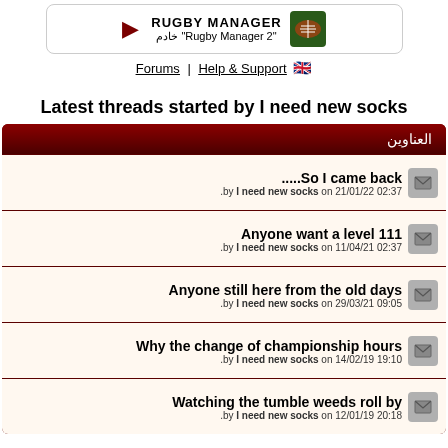[Figure (other): Rugby Manager app banner with play button, title RUGBY MANAGER, Arabic subtitle خادم Rugby Manager 2, and a green ball icon]
Forums | Help & Support 🇬🇧
Latest threads started by I need new socks
| العناوين |
| --- |
| .....So I came back | by I need new socks on 21/01/22 02:37 |
| Anyone want a level 111 | by I need new socks on 11/04/21 02:37 |
| Anyone still here from the old days | by I need new socks on 29/03/21 09:05 |
| Why the change of championship hours | by I need new socks on 14/02/19 19:10 |
| Watching the tumble weeds roll by | by I need new socks on 12/01/19 20:18 |